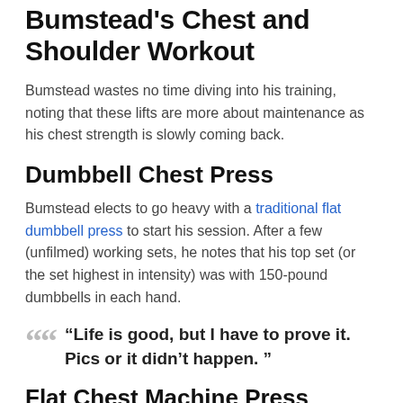Bumstead's Chest and Shoulder Workout
Bumstead wastes no time diving into his training, noting that these lifts are more about maintenance as his chest strength is slowly coming back.
Dumbbell Chest Press
Bumstead elects to go heavy with a traditional flat dumbbell press to start his session. After a few (unfilmed) working sets, he notes that his top set (or the set highest in intensity) was with 150-pound dumbbells in each hand.
“Life is good, but I have to prove it. Pics or it didn’t happen. ”
Flat Chest Machine Press
After taking a short breathher with his warmup lift,